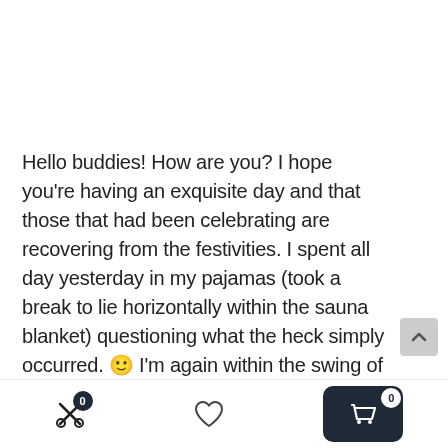Hello buddies! How are you? I hope you’re having an exquisite day and that those that had been celebrating are recovering from the festivities. I spent all day yesterday in my pajamas (took a break to lie horizontally within the sauna blanket) questioning what the heck simply occurred. 🙂 I’m again within the swing of issues and heading out to show a morning aerobics class.
For as we speak’s submit, I’m sharing a recap from